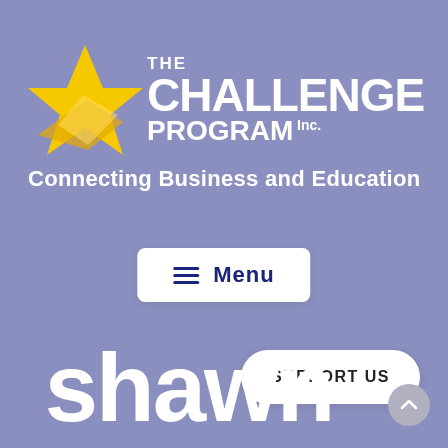[Figure (logo): The Challenge Program Inc. logo with yellow star and white text on purple background, tagline: Connecting Business and Education]
[Figure (screenshot): Navigation menu button with hamburger icon and 'Menu' text on white rounded rectangle]
[Figure (screenshot): Support Us button, white rounded pill shape with bold text 'SUPPORT US']
shawn